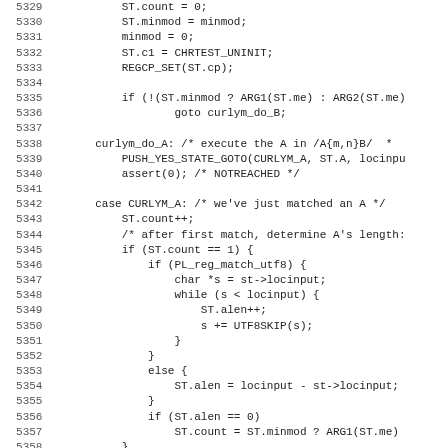[Figure (screenshot): Source code listing in monospace font showing C code lines 5329-5361, with line numbers on the left and code on the right. Code includes ST struct manipulations, curlym_do_A label, case CURLYM_A, loops, and debug statements.]